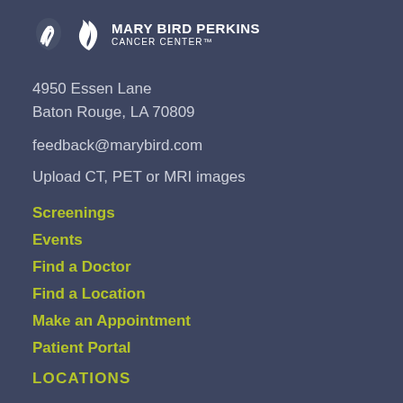MARY BIRD PERKINS CANCER CENTER™
4950 Essen Lane
Baton Rouge, LA 70809
feedback@marybird.com
Upload CT, PET or MRI images
Screenings
Events
Find a Doctor
Find a Location
Make an Appointment
Patient Portal
LOCATIONS